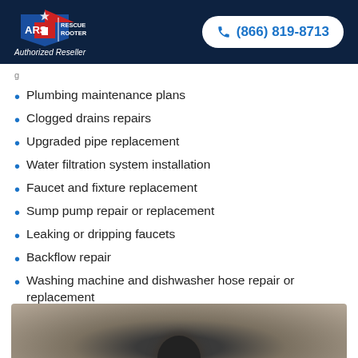[Figure (logo): ARS Rescue Rooter logo with 'Authorized Reseller' text below]
(866) 819-8713
Plumbing maintenance plans
Clogged drains repairs
Upgraded pipe replacement
Water filtration system installation
Faucet and fixture replacement
Sump pump repair or replacement
Leaking or dripping faucets
Backflow repair
Washing machine and dishwasher hose repair or replacement
[Figure (photo): Close-up photo of a drain in concrete or stone surface]